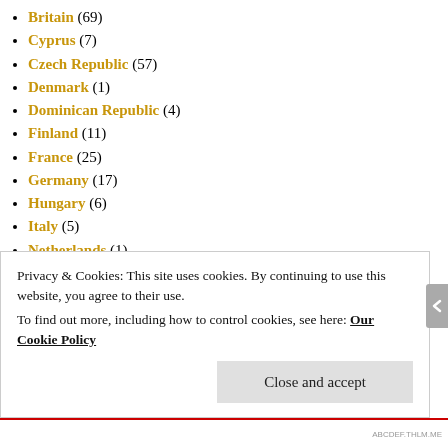Britain (69)
Cyprus (7)
Czech Republic (57)
Denmark (1)
Dominican Republic (4)
Finland (11)
France (25)
Germany (17)
Hungary (6)
Italy (5)
Netherlands (1)
North America (31)
Poland (250)
Northern Poland (47)
Southern Poland (40)
Uncle Davey's Warsaw (121)
Russia (36)
Privacy & Cookies: This site uses cookies. By continuing to use this website, you agree to their use. To find out more, including how to control cookies, see here: Our Cookie Policy
Close and accept